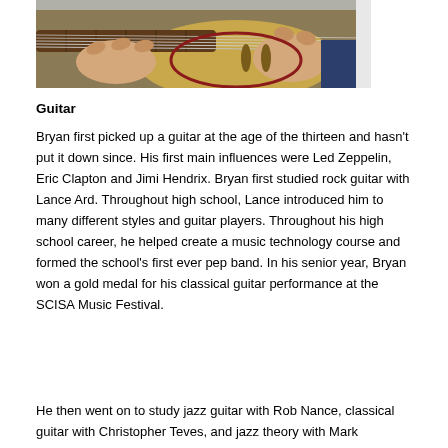[Figure (photo): Person playing an archtop/jazz guitar, showing hands on neck and body of the instrument]
Guitar
Bryan first picked up a guitar at the age of the thirteen and hasn't put it down since. His first main influences were Led Zeppelin, Eric Clapton and Jimi Hendrix. Bryan first studied rock guitar with Lance Ard. Throughout high school, Lance introduced him to many different styles and guitar players. Throughout his high school career, he helped create a music technology course and formed the school's first ever pep band. In his senior year, Bryan won a gold medal for his classical guitar performance at the SCISA Music Festival.
He then went on to study jazz guitar with Rob Nance, classical guitar with Christopher Teves, and jazz theory with Mark Sterbank.